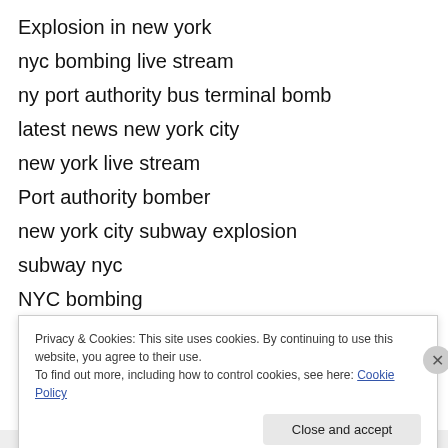Explosion in new york
nyc bombing live stream
ny port authority bus terminal bomb
latest news new york city
new york live stream
Port authority bomber
new york city subway explosion
subway nyc
NYC bombing
New York pipe bomb
port athority
Privacy & Cookies: This site uses cookies. By continuing to use this website, you agree to their use.
To find out more, including how to control cookies, see here: Cookie Policy